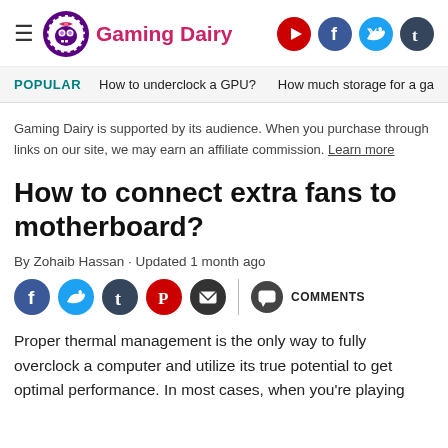Gaming Dairy
POPULAR   How to underclock a GPU?   How much storage for a ga
Gaming Dairy is supported by its audience. When you purchase through links on our site, we may earn an affiliate commission. Learn more
How to connect extra fans to motherboard?
By Zohaib Hassan · Updated 1 month ago
COMMENTS
Proper thermal management is the only way to fully overclock a computer and utilize its true potential to get optimal performance. In most cases, when you're playing